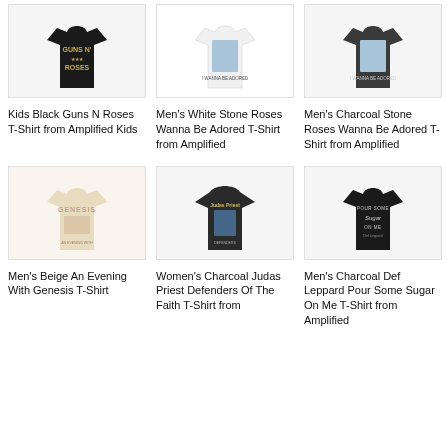[Figure (photo): Kids Black Guns N Roses T-Shirt - black tshirt with Guns N Roses logo]
Kids Black Guns N Roses T-Shirt from Amplified Kids
[Figure (photo): Men's White Stone Roses Wanna Be Adored T-Shirt - white tshirt with Stone Roses graphic]
Men's White Stone Roses Wanna Be Adored T-Shirt from Amplified
[Figure (photo): Men's Charcoal Stone Roses Wanna Be Adored T-Shirt - dark tshirt with Stone Roses graphic]
Men's Charcoal Stone Roses Wanna Be Adored T-Shirt from Amplified
[Figure (photo): Men's Beige An Evening With Genesis T-Shirt - cream/beige tshirt with Genesis graphic]
Men's Beige An Evening With Genesis T-Shirt
[Figure (photo): Women's Charcoal Judas Priest Defenders Of The Faith T-Shirt - dark tshirt with Judas Priest graphic]
Women's Charcoal Judas Priest Defenders Of The Faith T-Shirt from
[Figure (photo): Men's Charcoal Def Leppard Pour Some Sugar On Me T-Shirt - black tshirt with Pour Some Sugar On Me text]
Men's Charcoal Def Leppard Pour Some Sugar On Me T-Shirt from Amplified